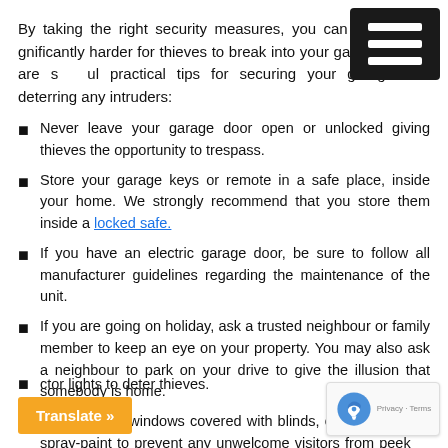By taking the right security measures, you can make it significantly harder for thieves to break into your garage. Below are some useful practical tips for securing your garage and deterring any intruders:
Never leave your garage door open or unlocked giving thieves the opportunity to trespass.
Store your garage keys or remote in a safe place, inside your home. We strongly recommend that you store them inside a locked safe.
If you have an electric garage door, be sure to follow all manufacturer guidelines regarding the maintenance of the unit.
If you are going on holiday, ask a trusted neighbour or family member to keep an eye on your property. You may also ask a neighbour to park on your drive to give the illusion that somebody is home.
Keep garage windows covered with blinds, curtains or even spray-paint to prevent any unwelcome visitors from peeking in.
ctor lights to deter thieves.